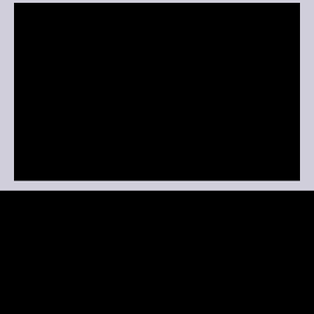[Figure (photo): Black rectangular photo/image area on a light lavender-gray background, representing a large photograph or artwork display frame.]
Next
2023
Pictures at an